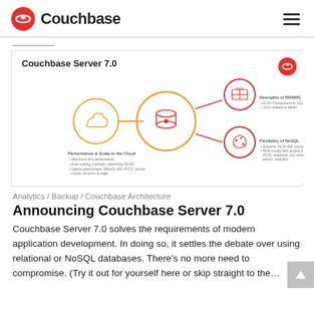Couchbase
[Figure (infographic): Couchbase Server 7.0 architecture diagram showing cloud performance circle connected to central database circle, with two smaller circles on the right labeled 'Strengths of RDBMS' and 'Flexibility of NoSQL'. A red Couchbase logo icon in the top right corner.]
Analytics / Backup / Couchbase Architecture
Announcing Couchbase Server 7.0
Couchbase Server 7.0 solves the requirements of modern application development. In doing so, it settles the debate over using relational or NoSQL databases. There’s no more need to compromise. (Try it out for yourself here or skip straight to the…